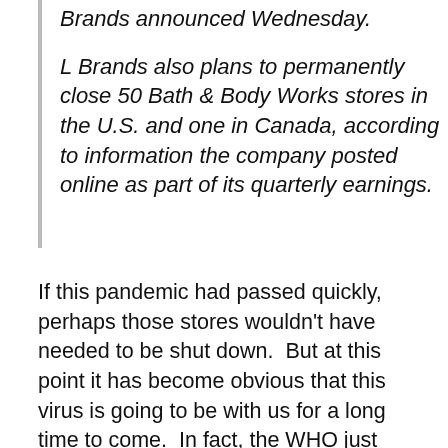Brands announced Wednesday. L Brands also plans to permanently close 50 Bath & Body Works stores in the U.S. and one in Canada, according to information the company posted online as part of its quarterly earnings.
If this pandemic had passed quickly, perhaps those stores wouldn't have needed to be shut down.  But at this point it has become obvious that this virus is going to be with us for a long time to come.  In fact, the WHO just announced that on a global basis we just witnessed the largest number of newly confirmed cases on a